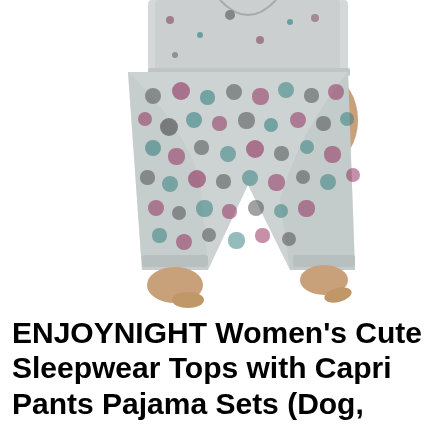[Figure (photo): A woman wearing a gray capri pajama set with cute dog/cat print pattern. The image shows the torso and legs, with the model wearing matching printed top and capri pants with colorful animal face prints in teal, burgundy, and black on a light gray background.]
ENJOYNIGHT Women's Cute Sleepwear Tops with Capri Pants Pajama Sets (Dog,